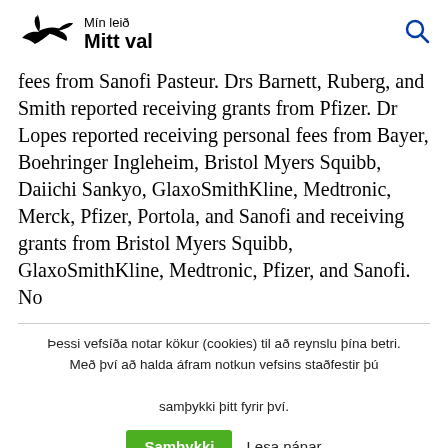[Figure (logo): Mín leið Mitt val logo with black bird/eagle silhouette on left and text on right, plus search icon on far right]
fees from Sanofi Pasteur. Drs Barnett, Ruberg, and Smith reported receiving grants from Pfizer. Dr Lopes reported receiving personal fees from Bayer, Boehringer Ingleheim, Bristol Myers Squibb, Daiichi Sankyo, GlaxoSmithKline, Medtronic, Merck, Pfizer, Portola, and Sanofi and receiving grants from Bristol Myers Squibb, GlaxoSmithKline, Medtronic, Pfizer, and Sanofi. No
Þessi vefsíða notar kökur (cookies) til að reynslu þína betri. Með því að halda áfram notkun vefsins staðfestir þú samþykki þitt fyrir því.
Samþykki   Lesa nánar